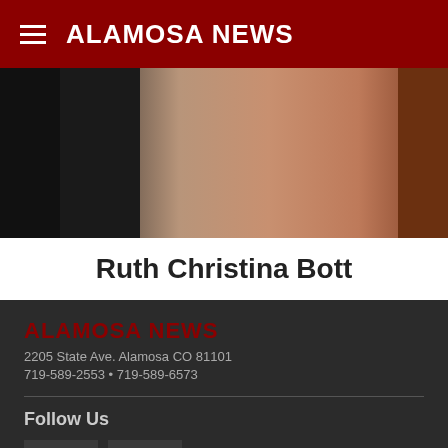ALAMOSA NEWS
[Figure (photo): Close-up photo of an elderly person, cropped at shoulders, wearing dark clothing with a light-colored garment visible]
Ruth Christina Bott
ALAMOSA NEWS
2205 State Ave. Alamosa CO 81101
719-589-2553 • 719-589-6573
Follow Us